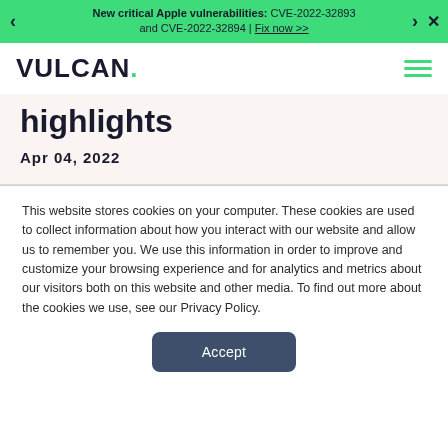New critical Apple vulnerabilities: CVE-2022-32893 and CVE-2022-32894 | Fix now >>
[Figure (logo): VULCAN. logo in dark navy with green period]
highlights
Apr 04, 2022
This website stores cookies on your computer. These cookies are used to collect information about how you interact with our website and allow us to remember you. We use this information in order to improve and customize your browsing experience and for analytics and metrics about our visitors both on this website and other media. To find out more about the cookies we use, see our Privacy Policy.
Accept